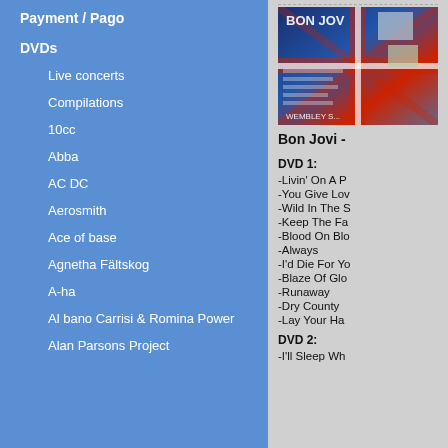Payment / Pago
DVDs
Live concerts
Compilations
10cc
Abba
AC DC
Aerosmith
Ace of base
Agnetha Fältskog
A-ha
Al bano Carrisi & Romina Power
Alan Parsons Project
[Figure (photo): Bon Jovi DVD cover showing a Union Jack flag themed design with band photos, labeled Wembley]
Bon Jovi -
DVD 1:
-Livin' On A P
-You Give Lov
-Wild In The S
-Keep The Fa
-Blood On Blo
-Always
-I'd Die For Yo
-Blaze Of Glo
-Runaway
-Dry County
-Lay Your Ha
DVD 2:
-I'll Sleep Wh